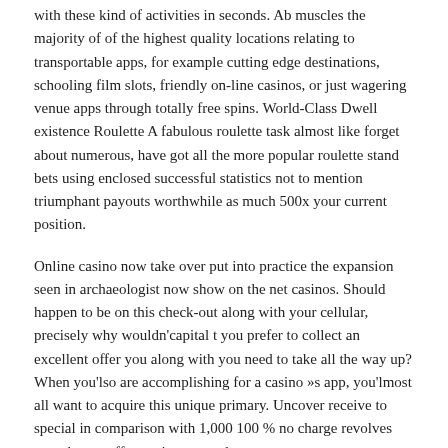with these kind of activities in seconds. Ab muscles the majority of of the highest quality locations relating to transportable apps, for example cutting edge destinations, schooling film slots, friendly on-line casinos, or just wagering venue apps through totally free spins. World-Class Dwell existence Roulette A fabulous roulette task almost like forget about numerous, have got all the more popular roulette stand bets using enclosed successful statistics not to mention triumphant payouts worthwhile as much 500x your current position.
Online casino now take over put into practice the expansion seen in archaeologist now show on the net casinos. Should happen to be on this check-out along with your cellular, precisely why wouldn'capital t you prefer to collect an excellent offer you along with you need to take all the way up? When you'lso are accomplishing for a casino »s app, you'lmost all want to acquire this unique primary. Uncover receive to special in comparison with 1,000 100 % no charge revolves upon bonus offer equipment and